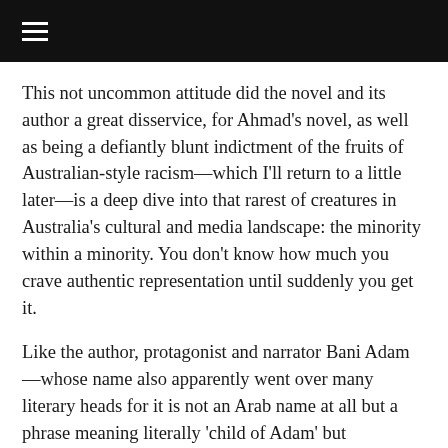≡
This not uncommon attitude did the novel and its author a great disservice, for Ahmad's novel, as well as being a defiantly blunt indictment of the fruits of Australian-style racism—which I'll return to a little later—is a deep dive into that rarest of creatures in Australia's cultural and media landscape: the minority within a minority. You don't know how much you crave authentic representation until suddenly you get it.
Like the author, protagonist and narrator Bani Adam—whose name also apparently went over many literary heads for it is not an Arab name at all but a phrase meaning literally 'child of Adam' but figuratively 'everyman'—is an Alawite Muslim who came of age in western Sydney amid the notorious 'Skaf gang' rape trials and the seismic aftershocks of 9/11. This means he lived in the shadow of both white society and the